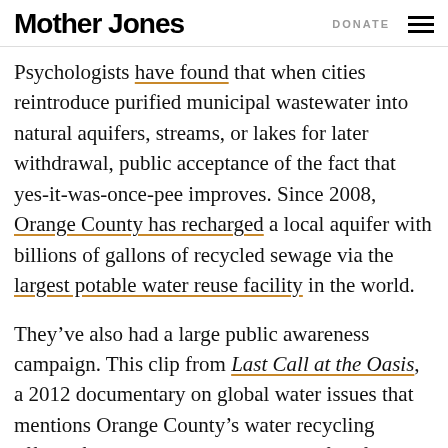Mother Jones | DONATE
Psychologists have found that when cities reintroduce purified municipal wastewater into natural aquifers, streams, or lakes for later withdrawal, public acceptance of the fact that yes-it-was-once-pee improves. Since 2008, Orange County has recharged a local aquifer with billions of gallons of recycled sewage via the largest potable water reuse facility in the world.
They’ve also had a large public awareness campaign. This clip from Last Call at the Oasis, a 2012 documentary on global water issues that mentions Orange County’s water recycling efforts, features Jack Black in a spoof ad for “Porcelain Springs: Water from the most peaceful place on Earth”: